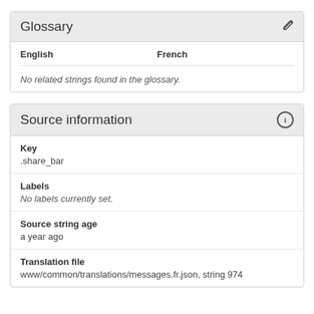Glossary
| English | French |
| --- | --- |
No related strings found in the glossary.
Source information
Key
.share_bar
Labels
No labels currently set.
Source string age
a year ago
Translation file
www/common/translations/messages.fr.json, string 974